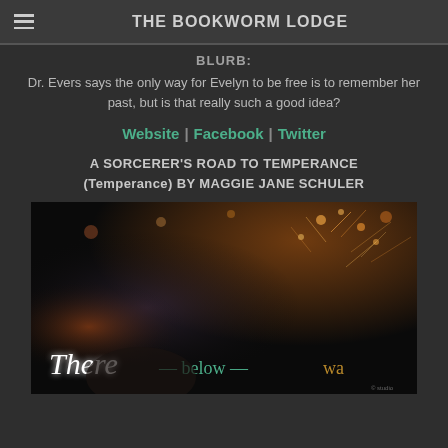THE BOOKWORM LODGE
BLURB:
Dr. Evers says the only way for Evelyn to be free is to remember her past, but is that really such a good idea?
Website | Facebook | Twitter
A SORCERER'S ROAD TO TEMPERANCE (Temperance) BY MAGGIE JANE SCHULER
[Figure (photo): Book cover image with dark bokeh background showing sparks/fireworks, with cursive text reading 'There — below — wa' overlaid at the bottom]